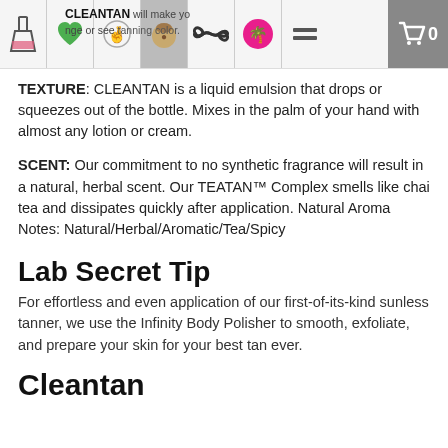CLEANTAN will make you change or see tanning color.
TEXTURE: CLEANTAN is a liquid emulsion that drops or squeezes out of the bottle. Mixes in the palm of your hand with almost any lotion or cream.
SCENT: Our commitment to no synthetic fragrance will result in a natural, herbal scent. Our TEATAN™ Complex smells like chai tea and dissipates quickly after application. Natural Aroma Notes: Natural/Herbal/Aromatic/Tea/Spicy
Lab Secret Tip
For effortless and even application of our first-of-its-kind sunless tanner, we use the Infinity Body Polisher to smooth, exfoliate, and prepare your skin for your best tan ever.
Cleantan